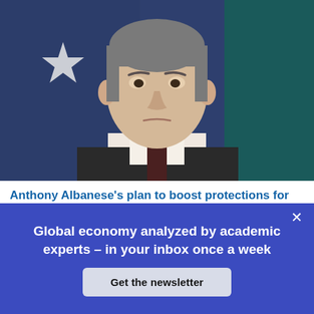[Figure (photo): Photo of Anthony Albanese in a dark suit and tie, standing in front of Australian flags with a serious expression. Background shows dark blue/teal flag fabric.]
Anthony Albanese's plan to boost protections for Australians in insecure work
Global economy analyzed by academic experts – in your inbox once a week
Get the newsletter